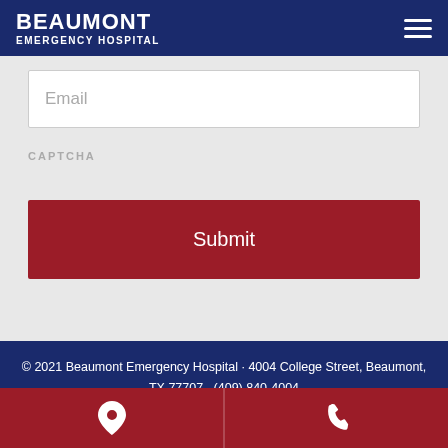BEAUMONT EMERGENCY HOSPITAL
Email
CAPTCHA
Submit
© 2021 Beaumont Emergency Hospital · 4004 College Street, Beaumont, TX 77707 · (409) 840-4004
Pricing Transparency · Medicare/Medicaid Disclaimer · Privacy Policy · Log in
[Figure (infographic): Bottom navigation bar with location pin icon (left) and phone icon (right) on red background]